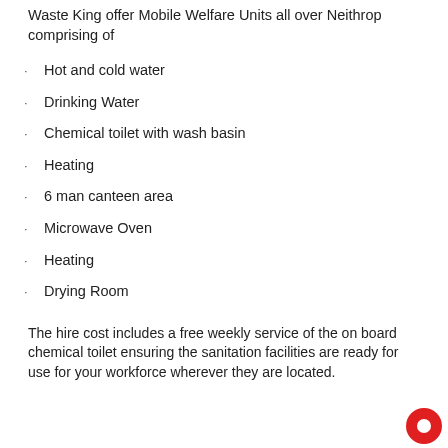Waste King offer Mobile Welfare Units all over Neithrop comprising of
Hot and cold water
Drinking Water
Chemical toilet with wash basin
Heating
6 man canteen area
Microwave Oven
Heating
Drying Room
The hire cost includes a free weekly service of the on board chemical toilet ensuring the sanitation facilities are ready for use for your workforce wherever they are located.